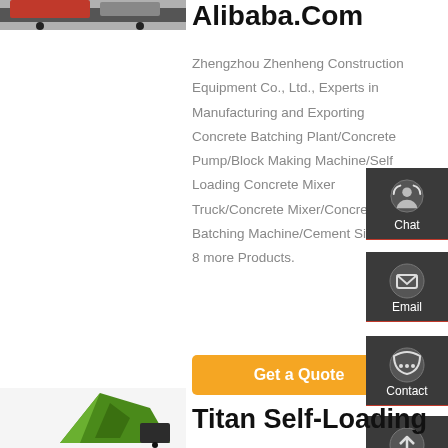[Figure (photo): Partial view of a red concrete mixer truck from above]
Alibaba.Com
Zhengzhou Zhenheng Construction Equipment Co., Ltd., Experts in Manufacturing and Exporting Concrete Batching Plant/Concrete Pump/Block Making Machine/Self Loading Concrete Mixer Truck/Concrete Mixer/Concrete Batching Machine/Cement Silo and 8 more Products.
[Figure (screenshot): Chat icon with headset — side panel button]
[Figure (screenshot): Email icon — side panel button]
[Figure (screenshot): Contact icon with speech bubble — side panel button]
[Figure (screenshot): Top/up arrow — side panel button]
[Figure (photo): Green self-loading concrete mixer vehicle, partial view]
Titan Self-Loading